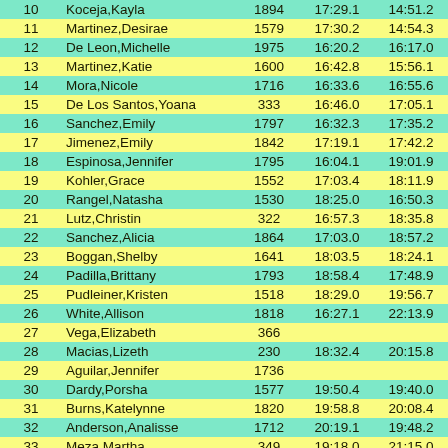|  | Name | Bib | Time1 | Time2 |
| --- | --- | --- | --- | --- |
| 10 | Koceja,Kayla | 1894 | 17:29.1 | 14:51.2 |
| 11 | Martinez,Desirae | 1579 | 17:30.2 | 14:54.3 |
| 12 | De Leon,Michelle | 1975 | 16:20.2 | 16:17.0 |
| 13 | Martinez,Katie | 1600 | 16:42.8 | 15:56.1 |
| 14 | Mora,Nicole | 1716 | 16:33.6 | 16:55.6 |
| 15 | De Los Santos,Yoana | 333 | 16:46.0 | 17:05.1 |
| 16 | Sanchez,Emily | 1797 | 16:32.3 | 17:35.2 |
| 17 | Jimenez,Emily | 1842 | 17:19.1 | 17:42.2 |
| 18 | Espinosa,Jennifer | 1795 | 16:04.1 | 19:01.9 |
| 19 | Kohler,Grace | 1552 | 17:03.4 | 18:11.9 |
| 20 | Rangel,Natasha | 1530 | 18:25.0 | 16:50.3 |
| 21 | Lutz,Christin | 322 | 16:57.3 | 18:35.8 |
| 22 | Sanchez,Alicia | 1864 | 17:03.0 | 18:57.2 |
| 23 | Boggan,Shelby | 1641 | 18:03.5 | 18:24.1 |
| 24 | Padilla,Brittany | 1793 | 18:58.4 | 17:48.9 |
| 25 | Pudleiner,Kristen | 1518 | 18:29.0 | 19:56.7 |
| 26 | White,Allison | 1818 | 16:27.1 | 22:13.9 |
| 27 | Vega,Elizabeth | 366 |  |  |
| 28 | Macias,Lizeth | 230 | 18:32.4 | 20:15.8 |
| 29 | Aguilar,Jennifer | 1736 |  |  |
| 30 | Dardy,Porsha | 1577 | 19:50.4 | 19:40.0 |
| 31 | Burns,Katelynne | 1820 | 19:58.8 | 20:08.4 |
| 32 | Anderson,Analisse | 1712 | 20:19.1 | 19:48.2 |
| 33 | Meza,Martha | 349 | 19:18.0 | 21:15.0 |
| 34 | Hadley,Ashlee | 1710 | 20:27.6 | 20:52.0 |
| 35 | Maldonado,Teresa | 1632 | 19:58.9 | 21:43.2 |
| 36 | Gonzales,Eliza | 1634 | 19:26.8 | 22:33.4 |
| 37 | Rios,Daniella | 1874 | 19:24.6 | 22:36.6 |